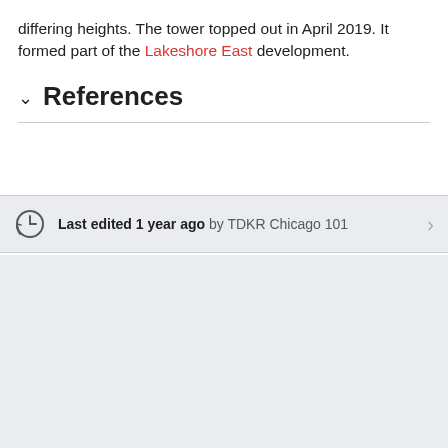differing heights. The tower topped out in April 2019. It formed part of the Lakeshore East development.
References
Last edited 1 year ago by TDKR Chicago 101